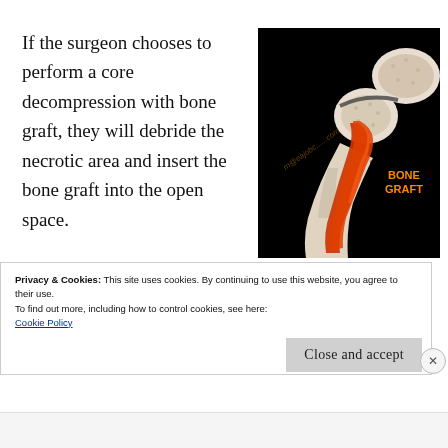If the surgeon chooses to perform a core decompression with bone graft, they will debride the necrotic area and insert the bone graft into the open space.
[Figure (photo): Medical illustration of a cross-section of a hip joint on black background showing bone graft (orange/red) inserted into the femoral head. Label 'BONE GRAFT' in orange text visible on the right side of the image.]
Privacy & Cookies: This site uses cookies. By continuing to use this website, you agree to their use.
To find out more, including how to control cookies, see here:
Cookie Policy
Close and accept
Advertisements